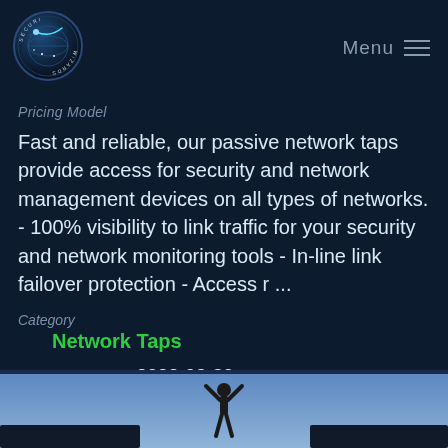Menu
[Figure (logo): Security Wizards circular logo with a dark blue globe and satellite/comet graphic, text around the border]
Pricing Model
Fast and reliable, our passive network taps provide access for security and network management devices on all types of networks. - 100% visibility to link traffic for your security and network monitoring tools - In-line link failover protection - Access r ...
Category
Network Taps
Modified    2022-08-30
[Figure (photo): Partial bottom image showing a blue sky background and a dark silhouette figure with arms raised, along with other product imagery]